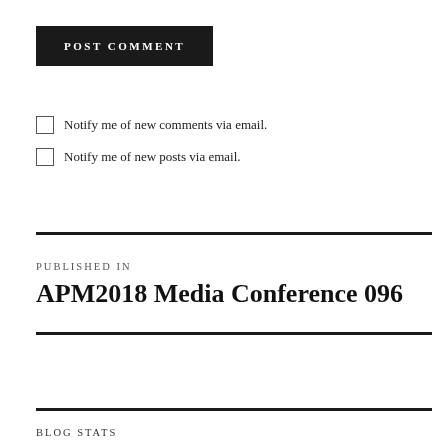POST COMMENT
Notify me of new comments via email.
Notify me of new posts via email.
PUBLISHED IN
APM2018 Media Conference 096
BLOG STATS